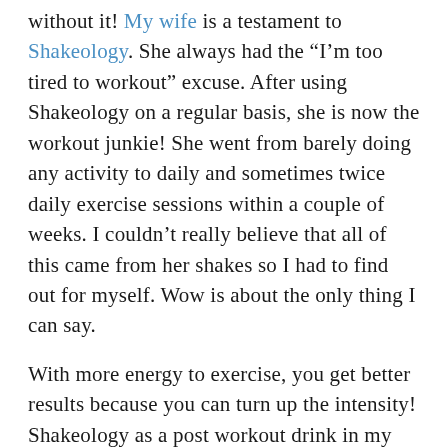without it! My wife is a testament to Shakeology. She always had the “I’m too tired to workout” excuse. After using Shakeology on a regular basis, she is now the workout junkie! She went from barely doing any activity to daily and sometimes twice daily exercise sessions within a couple of weeks. I couldn’t really believe that all of this came from her shakes so I had to find out for myself. Wow is about the only thing I can say.

With more energy to exercise, you get better results because you can turn up the intensity! Shakeology as a post workout drink in my mind doesn’t really work as well. Yes it is made with whey